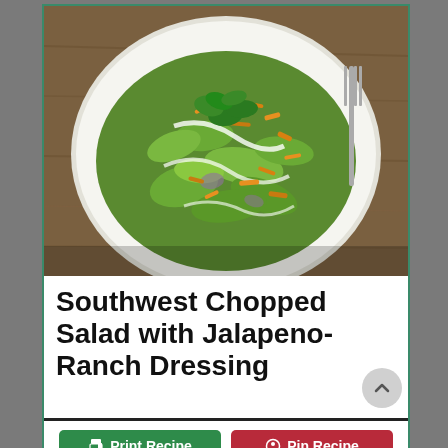[Figure (photo): A white plate of Southwest chopped salad with shredded cheddar cheese, fresh cilantro, mixed greens and creamy dressing, on a wooden table with a fork visible]
Southwest Chopped Salad with Jalapeno-Ranch Dressing
Print Recipe
Pin Recipe